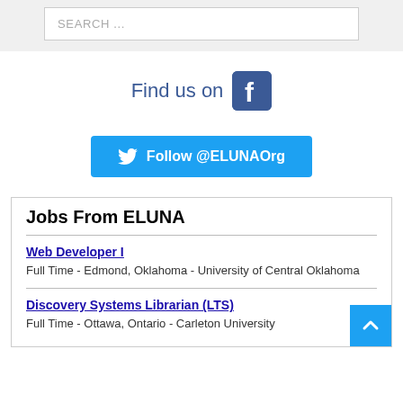SEARCH ...
[Figure (logo): Find us on Facebook button with Facebook icon]
[Figure (logo): Twitter Follow @ELUNAOrg button]
Jobs From ELUNA
Web Developer I
Full Time - Edmond, Oklahoma - University of Central Oklahoma
Discovery Systems Librarian (LTS)
Full Time - Ottawa, Ontario - Carleton University